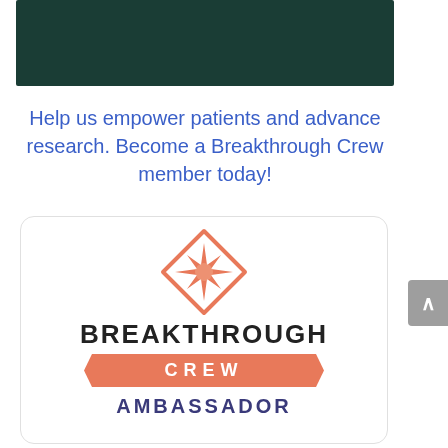[Figure (other): Dark teal/green banner image at top of page]
Help us empower patients and advance research. Become a Breakthrough Crew member today!
[Figure (logo): Breakthrough Crew Ambassador badge logo with orange diamond star icon, bold BREAKTHROUGH text, orange ribbon banner with CREW text, and AMBASSADOR text in purple below]